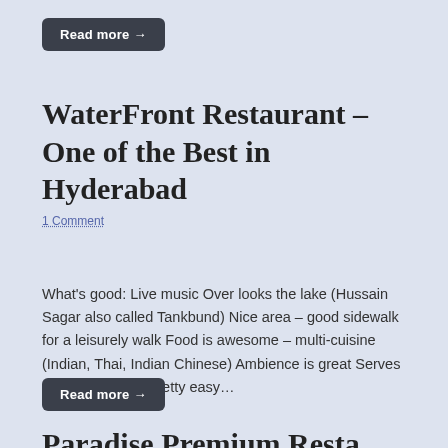Read more →
WaterFront Restaurant – One of the Best in Hyderabad
1 Comment
What's good: Live music Over looks the lake (Hussain Sagar also called Tankbund) Nice area – good sidewalk for a leisurely walk Food is awesome – multi-cuisine (Indian, Thai, Indian Chinese) Ambience is great Serves liquor Parking is pretty easy…
Read more →
Paradise Premium Resta…